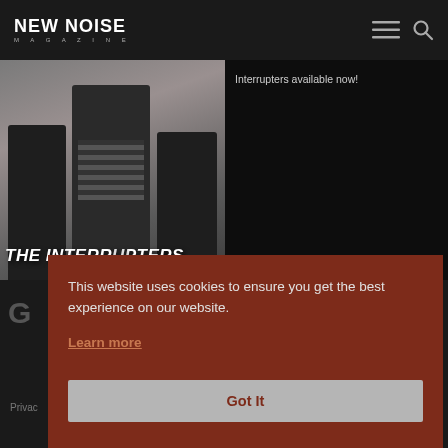NEW NOISE MAGAZINE
[Figure (photo): Band photo of The Interrupters — three people standing against a wall, with band name overlaid at bottom left. Right side shows dark background with partial text 'Interrupters available now!']
Interrupters available now!
This website uses cookies to ensure you get the best experience on our website.
Learn more
Got It
Privac